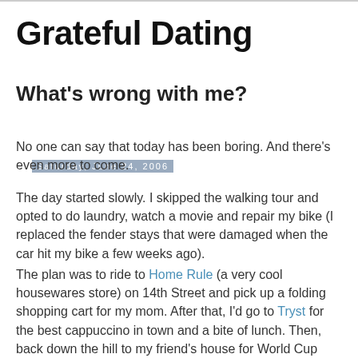Grateful Dating
Saturday, June 24, 2006
What's wrong with me?
No one can say that today has been boring. And there's even more to come.
The day started slowly. I skipped the walking tour and opted to do laundry, watch a movie and repair my bike (I replaced the fender stays that were damaged when the car hit my bike a few weeks ago).
The plan was to ride to Home Rule (a very cool housewares store) on 14th Street and pick up a folding shopping cart for my mom. After that, I'd go to Tryst for the best cappuccino in town and a bite of lunch. Then, back down the hill to my friend's house for World Cup Soccer watching party.